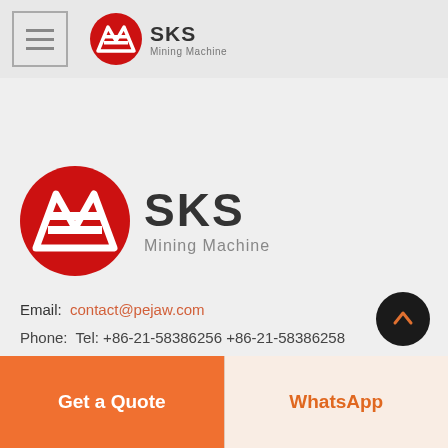SKS Mining Machine
[Figure (logo): SKS Mining Machine logo - red circle with white ME mark and SKS text]
Email: contact@pejaw.com
Phone: Tel: +86-21-58386256 +86-21-58386258
Get a Quote
WhatsApp